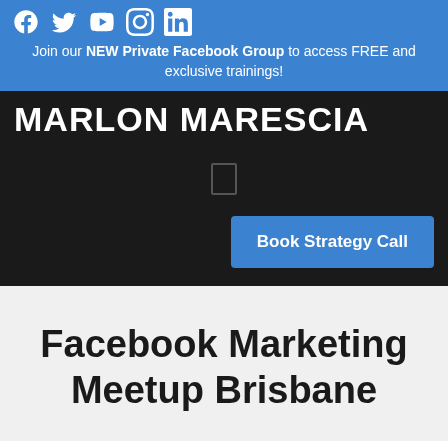[Figure (infographic): Social media icons: Facebook, Twitter, YouTube, Instagram, LinkedIn in white on blue background]
Join our NEW Private Facebook Group to access FREE and exclusive trainings!
MARLON MARESCIA
[Figure (other): Hamburger/menu icon outline in dark rectangle]
Book Strategy Call
Facebook Marketing Meetup Brisbane